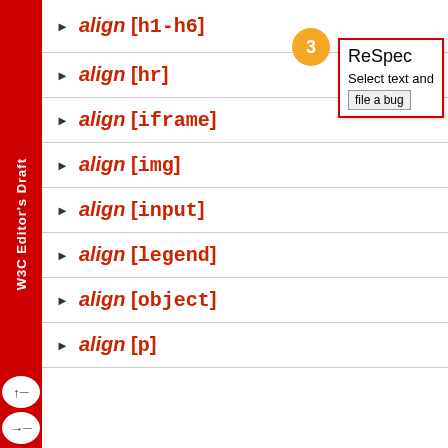W3C Editor's Draft
align [h1-h6]
align [hr]
align [iframe]
align [img]
align [input]
align [legend]
align [object]
align [p]
[Figure (other): ReSpec popup tooltip with orange badge showing '3', title 'ReSpec', text 'Select text and' and button 'file a bug']